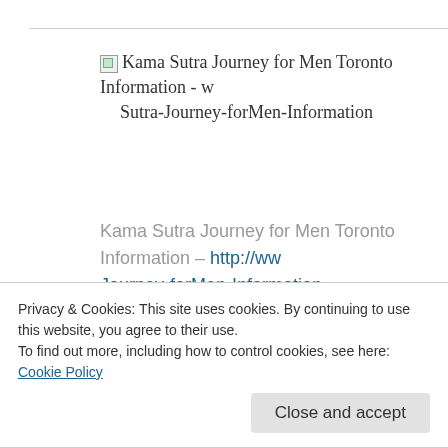[Figure (screenshot): Broken image placeholder with alt text: Kama Sutra Journey for Men Toronto Information - w Sutra-Journey-forMen-Information]
Kama Sutra Journey for Men Toronto Information – http://ww Journey-forMen-Information
[Figure (screenshot): Broken image placeholder with alt text: Kama Sutra Journey for Men Toronto Inf www.phillipcoupal.ca/Kama-Sutra-Journey Information]
Privacy & Cookies: This site uses cookies. By continuing to use this website, you agree to their use. To find out more, including how to control cookies, see here: Cookie Policy